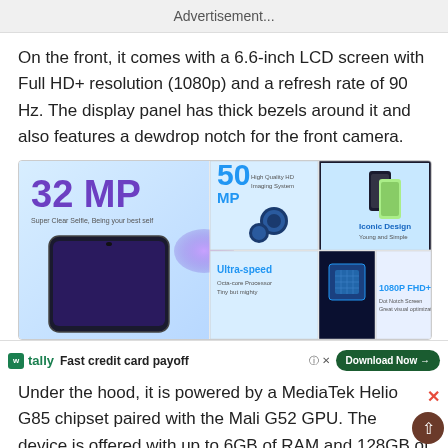Advertisement...
On the front, it comes with a 6.6-inch LCD screen with Full HD+ resolution (1080p) and a refresh rate of 90 Hz. The display panel has thick bezels around it and also features a dewdrop notch for the front camera.
[Figure (infographic): Smartphone feature grid showing: 32MP Super Clear Selfie, 50MP High Quality HD Imaging System, 5000mAh Large Battery, Iconic Design, Ultra-speed Octa-core Processor, chip image, 1080P FHD+ Dot Notch Screen]
[Figure (infographic): Tally advertisement overlay: Fast credit card payoff, Download Now button]
Under the hood, it is powered by a MediaTek Helio G85 chipset paired with the Mali G52 GPU. The device is offered with up to 6GB of RAM and 128GB of internal storage expandable with a Micro SD card. The device...